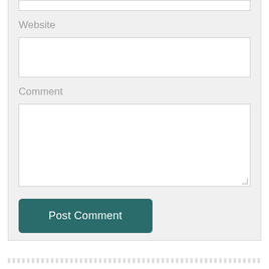[Figure (screenshot): Web form screenshot showing Website label with text input field, Comment label with textarea, and Post Comment button on a light gray background]
Website
Comment
Post Comment